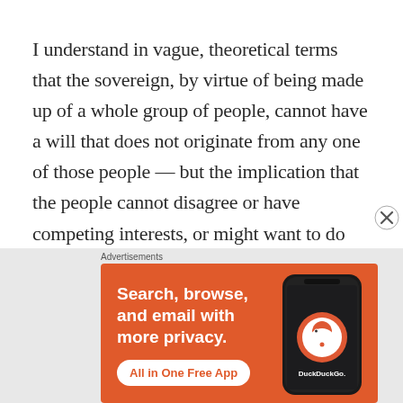I understand in vague, theoretical terms that the sovereign, by virtue of being made up of a whole group of people, cannot have a will that does not originate from any one of those people — but the implication that the people cannot disagree or have competing interests, or might want to do something that would cause harm, or cause perceived harm, against any other individual member seems fundamentally absurd. It is
Advertisements
[Figure (screenshot): DuckDuckGo advertisement banner with orange background showing text 'Search, browse, and email with more privacy. All in One Free App' with a phone image and DuckDuckGo logo]